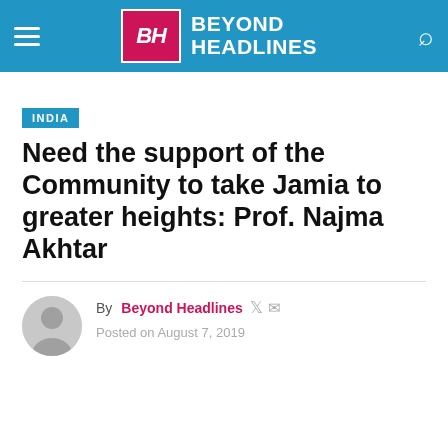Beyond Headlines
INDIA
Need the support of the Community to take Jamia to greater heights: Prof. Najma Akhtar
By Beyond Headlines | Posted on August 7, 2019